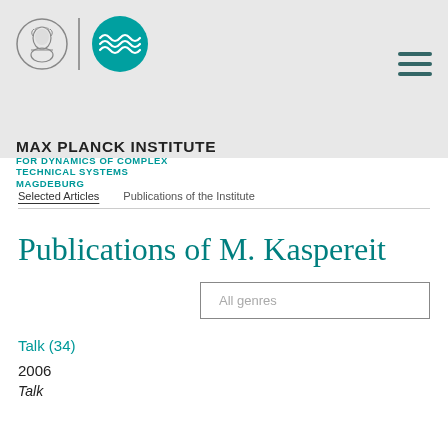MAX PLANCK INSTITUTE FOR DYNAMICS OF COMPLEX TECHNICAL SYSTEMS MAGDEBURG
Selected Articles   Publications of the Institute
Publications of M. Kaspereit
All genres
Talk (34)
2006
Talk